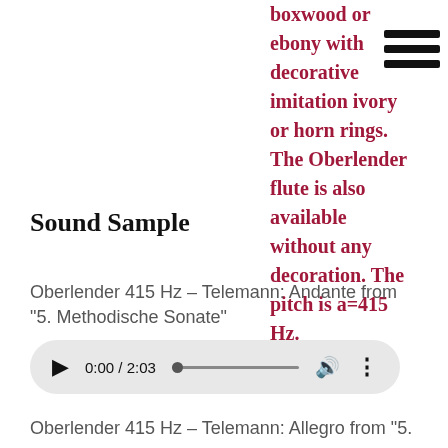boxwood or ebony with decorative imitation ivory or horn rings. The Oberlender flute is also available without any decoration. The pitch is a=415 Hz.
[Figure (other): Hamburger menu icon with three horizontal black bars]
Sound Sample
Oberlender 415 Hz - Telemann: Andante from "5. Methodische Sonate"
[Figure (other): Audio player UI showing play button, time 0:00 / 2:03, progress bar, volume icon, and more options icon]
Oberlender 415 Hz - Telemann: Allegro from "5.